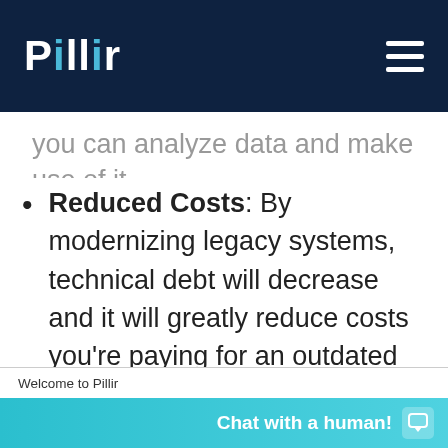Pillir
you can analyze data and make use of it.
Reduced Costs: By modernizing legacy systems, technical debt will decrease and it will greatly reduce costs you're paying for an outdated system.
Welcome to Pillir
We use cookies to offer our visitors a better experience and personalized content. We also may share information about your use of our site with our social media, advertising and analytics partners.
Accept Cookies
Chat with a human!